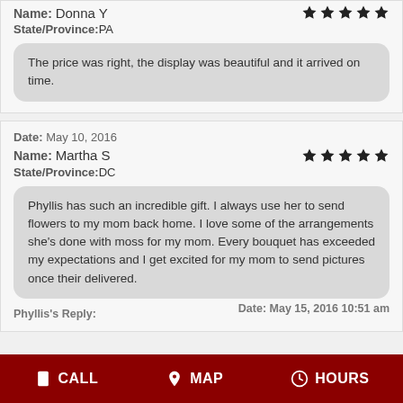Name: Donna Y | State/Province: PA
The price was right, the display was beautiful and it arrived on time.
Date: May 10, 2016
Name: Martha S | State/Province: DC
Phyllis has such an incredible gift. I always use her to send flowers to my mom back home. I love some of the arrangements she's done with moss for my mom. Every bouquet has exceeded my expectations and I get excited for my mom to send pictures once their delivered.
Phyllis's Reply:  Date: May 15, 2016 10:51 am
CALL | MAP | HOURS